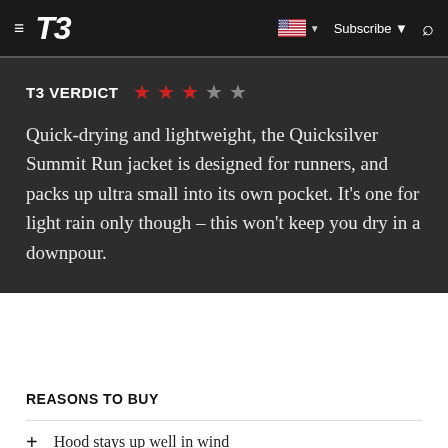T3 | Subscribe | [search icon]
T3 VERDICT  ★ ★ ★ ☆ ☆
Quick-drying and lightweight, the Quicksilver Summit Run jacket is designed for runners, and packs up ultra small into its own pocket. It's one for light rain only though – this won't keep you dry in a downpour.
REASONS TO BUY
+ Hood stays up well in wind